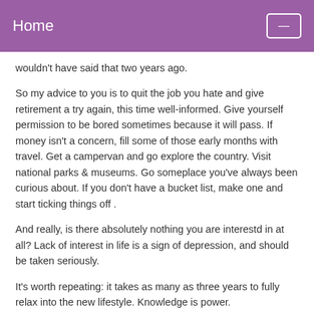Home
wouldn't have said that two years ago.
So my advice to you is to quit the job you hate and give retirement a try again, this time well-informed. Give yourself permission to be bored sometimes because it will pass. If money isn't a concern, fill some of those early months with travel. Get a campervan and go explore the country. Visit national parks & museums. Go someplace you've always been curious about. If you don't have a bucket list, make one and start ticking things off .
And really, is there absolutely nothing you are interestd in at all? Lack of interest in life is a sign of depression, and should be taken seriously.
It's worth repeating: it takes as many as three years to fully relax into the new lifestyle. Knowledge is power.
Posted by: Nita | September 30, 2016 at 09:22 AM
And from Jonathan: